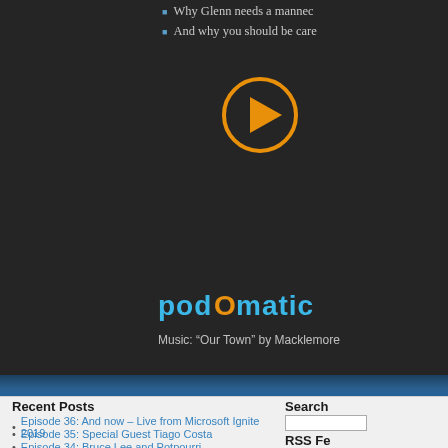Why Glenn needs a mannequin
And why you should be care
[Figure (other): Orange circular play button icon on dark background]
[Figure (logo): Podomatic logo in cyan/blue text]
Music: “Our Town” by Macklemore
Recent Posts
Episode 36: And now – Live from Microsoft Ignite 2019
Episode 35: Special Guest Tiago Costa
Episode 34: Bruce Lee and Potpourri
Search
RSS Fe